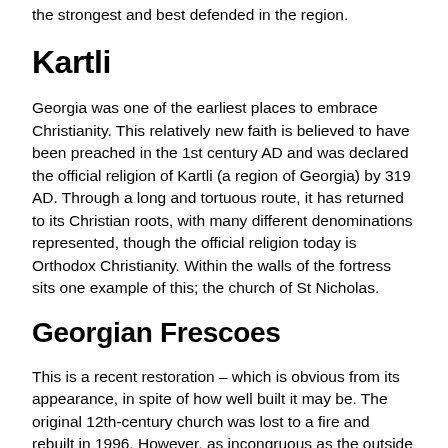the strongest and best defended in the region.
Kartli
Georgia was one of the earliest places to embrace Christianity. This relatively new faith is believed to have been preached in the 1st century AD and was declared the official religion of Kartli (a region of Georgia) by 319 AD. Through a long and tortuous route, it has returned to its Christian roots, with many different denominations represented, though the official religion today is Orthodox Christianity. Within the walls of the fortress sits one example of this; the church of St Nicholas.
Georgian Frescoes
This is a recent restoration – which is obvious from its appearance, in spite of how well built it may be. The original 12th-century church was lost to a fire and rebuilt in 1996. However, as incongruous as the outside of the building may seem to some (the zinc roofing is especially prominent), the interior is well worth viewing for the colourful frescoes along. The publication is the same from Scan it from